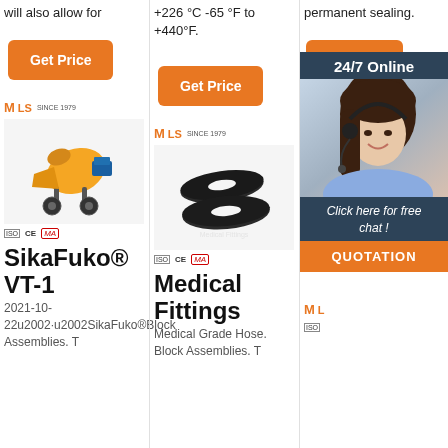will also allow for
+226 °C -65 °F to +440°F.
permanent sealing.
Get Price
Get Price
Get Price
[Figure (screenshot): 24/7 Online chat widget with woman wearing headset, dark blue background, orange QUOTATION button]
[Figure (photo): Yellow concrete mixer machine product photo with MLS Since 1979 logo and CE MA certification badges]
[Figure (photo): Black metal flanged discs/fittings product photo with MLS Since 1979 logo and CE MA certification badges]
[Figure (photo): MLS logo partially visible, product covered by overlay]
SikaFuko® VT-1
Medical Fittings
Medical Tubing; Silicone, PVC,
2021-10-22u2002·u2002SikaFuko®Block Assemblies. T
Medical Grade Hose. Block Assemblies. T